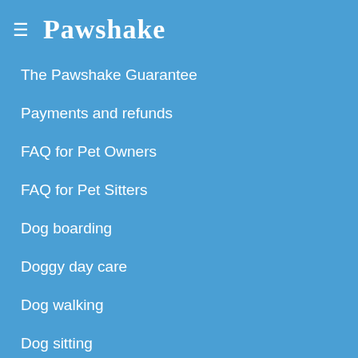≡ Pawshake
The Pawshake Guarantee
Payments and refunds
FAQ for Pet Owners
FAQ for Pet Sitters
Dog boarding
Doggy day care
Dog walking
Dog sitting
Cat sitting